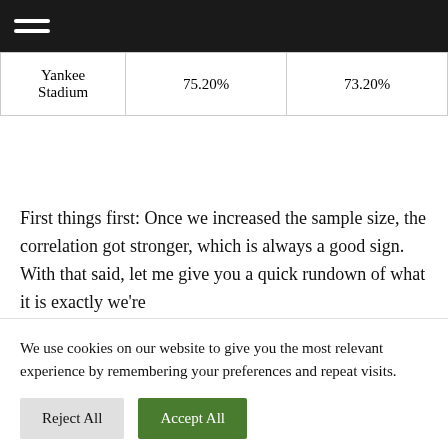| Yankee Stadium | 75.20% | 73.20% |
First things first: Once we increased the sample size, the correlation got stronger, which is always a good sign. With that said, let me give you a quick rundown of what it is exactly we're
We use cookies on our website to give you the most relevant experience by remembering your preferences and repeat visits.